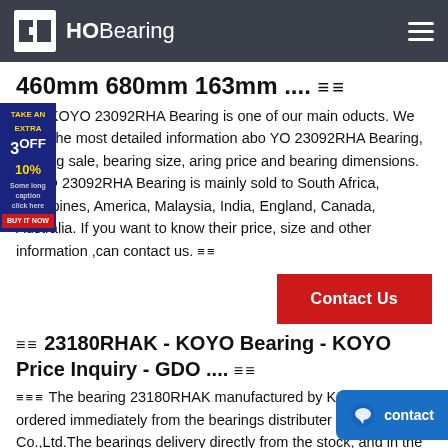HOBearing
460mm 680mm 163mm .... ☰☰
☰☰☰ KOYO 23092RHA Bearing is one of our main products. We have the most detailed information about KOYO 23092RHA Bearing, bearing sale, bearing size, bearing price and bearing dimensions. KOYO 23092RHA Bearing is mainly sold to South Africa, Philippines, America, Malaysia, India, England, Canada, Australia. If you want to know their price, size and other information ,can contact us. ☰☰
Contact Us
☰☰ 23180RHAK - KOYO Bearing - KOYO Price Inquiry - GDO .... ☰☰
☰☰☰ The bearing 23180RHAK manufactured by KOYO can be ordered immediately from the bearings distributor GDO Bearing Co.,Ltd.The bearings delivery directly from the stock, and in the event the are not in stock, we shall inform you immediately related